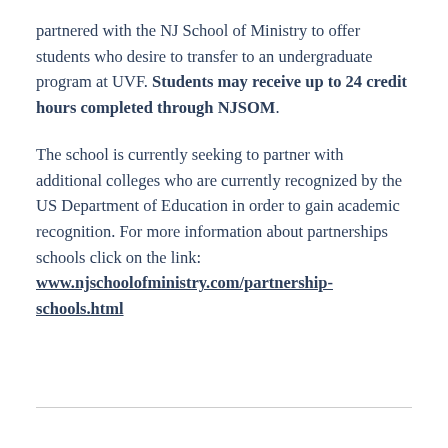partnered with the NJ School of Ministry to offer students who desire to transfer to an undergraduate program at UVF. Students may receive up to 24 credit hours completed through NJSOM.
The school is currently seeking to partner with additional colleges who are currently recognized by the US Department of Education in order to gain academic recognition. For more information about partnerships schools click on the link: www.njschoolofministry.com/partnership-schools.html